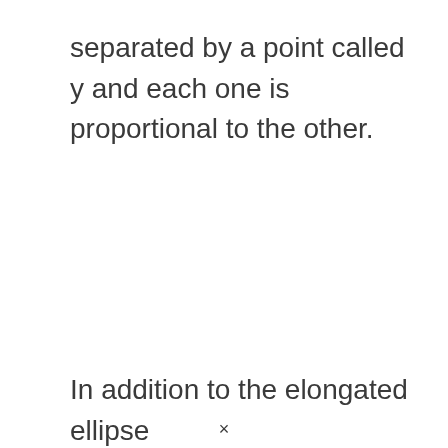separated by a point called y and each one is proportional to the other.
In addition to the elongated ellipse
×